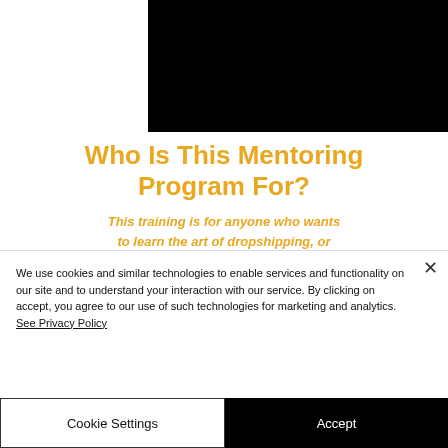[Figure (photo): Black image/video banner at top of page]
Who Is This Mentoring Program For?
This training is for anyone who wants to learn the art of dropshipping, or sharpen the skills they already have
[Figure (photo): Black image/video banner with gold circle icon]
We use cookies and similar technologies to enable services and functionality on our site and to understand your interaction with our service. By clicking on accept, you agree to our use of such technologies for marketing and analytics. See Privacy Policy